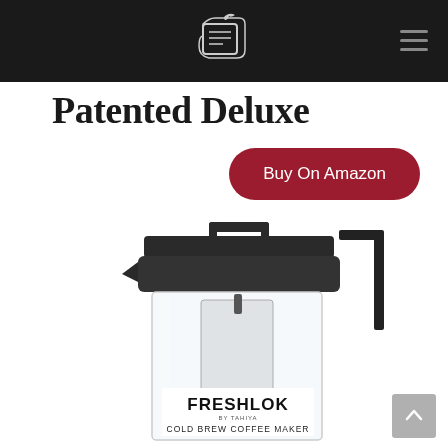Navigation bar with logo and hamburger menu
Patented Deluxe
Buy On Amazon
[Figure (photo): FRESHLOK by Tahiya Cold Brew Coffee Maker product photo showing a glass pitcher with black lid, handle, and internal filter/strainer. The label reads FRESHLOK COLD BREW COFFEE MAKER.]